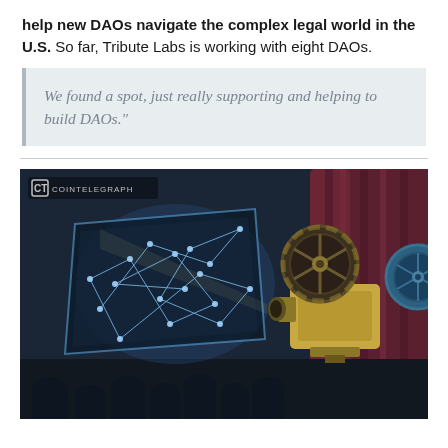help new DAOs navigate the complex legal world in the U.S. So far, Tribute Labs is working with eight DAOs.
We found a spot, just really supporting and helping to build DAOs."
[Figure (illustration): Cointelegraph branded illustration showing a vintage film projector on the right with film reels, projecting light onto a glowing geometric/blockchain network screen on the left, with a silhouetted cinema audience in the foreground. Dark cinematic background with curtains.]